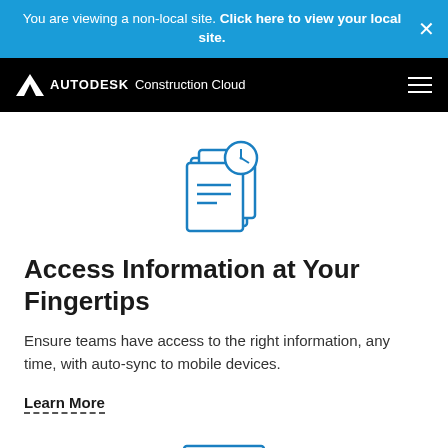You are viewing a non-local site. Click here to view your local site.
[Figure (logo): Autodesk Construction Cloud logo on black navbar with hamburger menu icon]
[Figure (illustration): Blue line icon of stacked documents with a clock/timer symbol]
Access Information at Your Fingertips
Ensure teams have access to the right information, any time, with auto-sync to mobile devices.
Learn More
[Figure (illustration): Blue line icon partially visible at bottom of page]